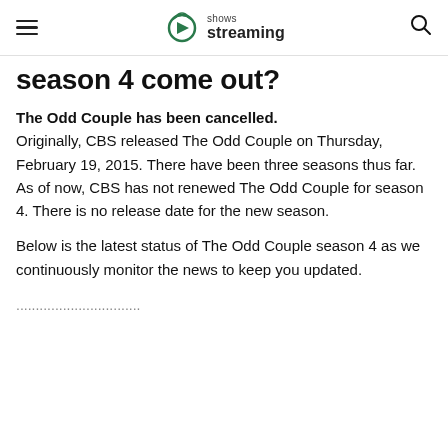shows streaming
season 4 come out?
The Odd Couple has been cancelled. Originally, CBS released The Odd Couple on Thursday, February 19, 2015. There have been three seasons thus far. As of now, CBS has not renewed The Odd Couple for season 4. There is no release date for the new season.
Below is the latest status of The Odd Couple season 4 as we continuously monitor the news to keep you updated.
(partial text cut off at bottom)